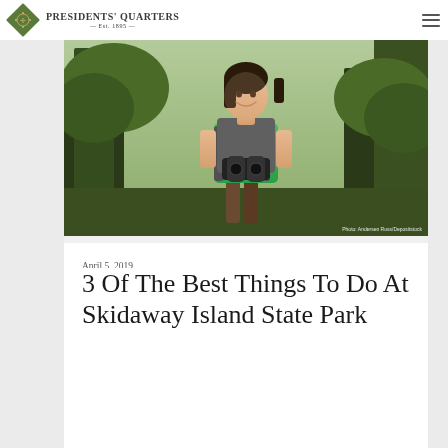Presidents' Quarters EST. 1895
[Figure (photo): A smiling young woman wearing a green tank top and backpack holding binoculars in a forested park setting. Photo credit: Andersen Ross/Depositstock]
April 5, 2019
3 Of The Best Things To Do At Skidaway Island State Park